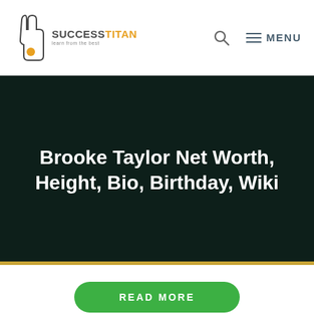SUCCESSTITAN — Learn from the best | Search | MENU
Brooke Taylor Net Worth, Height, Bio, Birthday, Wiki
READ MORE